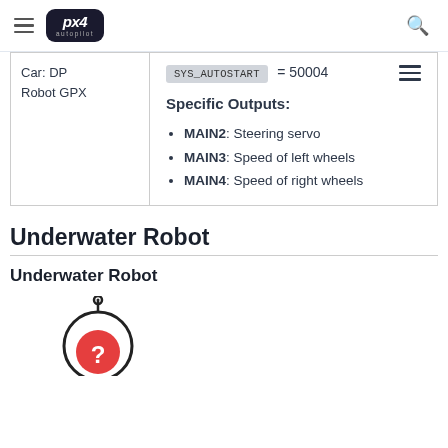PX4 Autopilot
Car: DP Robot GPX
SYS_AUTOSTART = 50004
Specific Outputs:
MAIN2: Steering servo
MAIN3: Speed of left wheels
MAIN4: Speed of right wheels
Underwater Robot
Underwater Robot
[Figure (illustration): Underwater robot icon/logo showing a circular robot symbol with red element]